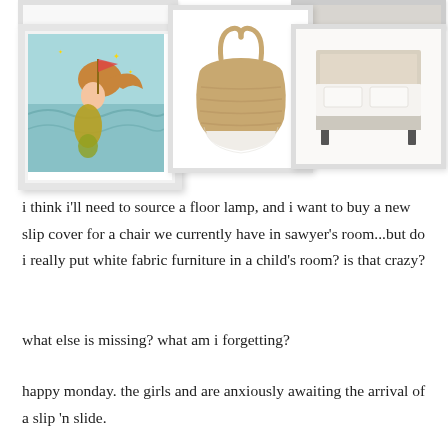[Figure (photo): A collage of home decor product images: a framed mermaid artwork print on the left, a woven seagrass belly basket in the center, and an upholstered bed frame on the right. Partial cropped frames visible at top.]
i think i'll need to source a floor lamp, and i want to buy a new slip cover for a chair we currently have in sawyer's room...but do i really put white fabric furniture in a child's room? is that crazy?
what else is missing? what am i forgetting?
happy monday. the girls and are anxiously awaiting the arrival of a slip 'n slide.